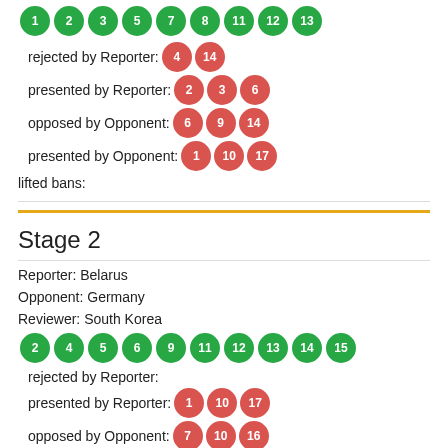[Figure (infographic): Row of green numbered circles at top (partially visible)]
rejected by Reporter: 4 14
presented by Reporter: 2 3 6
opposed by Opponent: 6 9 14
presented by Opponent: 1 10 17
lifted bans:
Stage 2
Reporter: Belarus
Opponent: Germany
Reviewer: South Korea
[Figure (infographic): Row of green numbered circles: 2 4 5 6 9 11 12 13 14 15]
rejected by Reporter:
presented by Reporter: 1 10 17
opposed by Opponent: 7 10 16
presented by Opponent: 3 8 17
lifted bans: